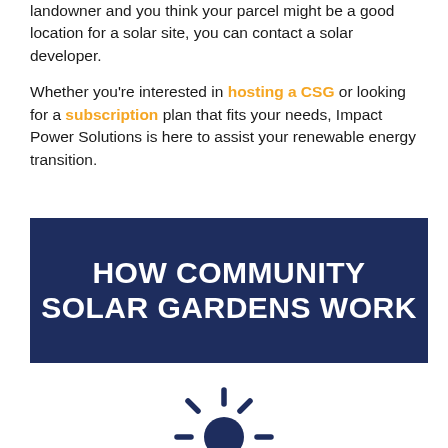landowner and you think your parcel might be a good location for a solar site, you can contact a solar developer.

Whether you're interested in hosting a CSG or looking for a subscription plan that fits your needs, Impact Power Solutions is here to assist your renewable energy transition.
[Figure (infographic): Dark navy blue banner with bold white text reading HOW COMMUNITY SOLAR GARDENS WORK]
[Figure (illustration): Dark navy blue sun icon with rays, partially visible at bottom of page]